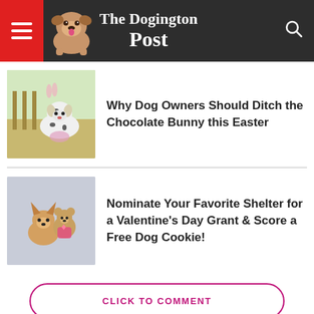[Figure (logo): The Dogington Post website header with hamburger menu on red background, bulldog puppy logo image, and search icon on dark grey background]
[Figure (photo): Dalmatian dog sitting outdoors near Easter decorations]
Why Dog Owners Should Ditch the Chocolate Bunny this Easter
[Figure (photo): Chihuahua dog sitting with a small teddy bear dressed in pink]
Nominate Your Favorite Shelter for a Valentine's Day Grant & Score a Free Dog Cookie!
CLICK TO COMMENT
[Figure (screenshot): The Dogington Post Facebook page preview at the bottom with bulldog avatar and verified checkmark]